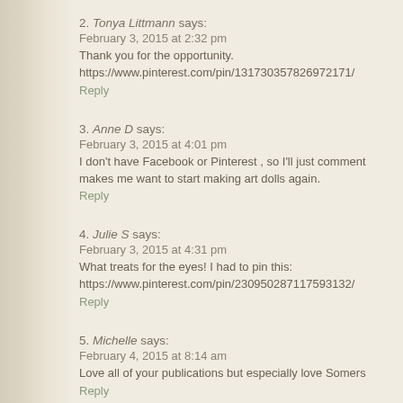2. Tonya Littmann says:
February 3, 2015 at 2:32 pm
Thank you for the opportunity.
https://www.pinterest.com/pin/131730357826972171/
Reply
3. Anne D says:
February 3, 2015 at 4:01 pm
I don't have Facebook or Pinterest , so I'll just comment makes me want to start making art dolls again.
Reply
4. Julie S says:
February 3, 2015 at 4:31 pm
What treats for the eyes! I had to pin this:
https://www.pinterest.com/pin/230950287117593132/
Reply
5. Michelle says:
February 4, 2015 at 8:14 am
Love all of your publications but especially love Somers
Reply
6. Jamie D. says: